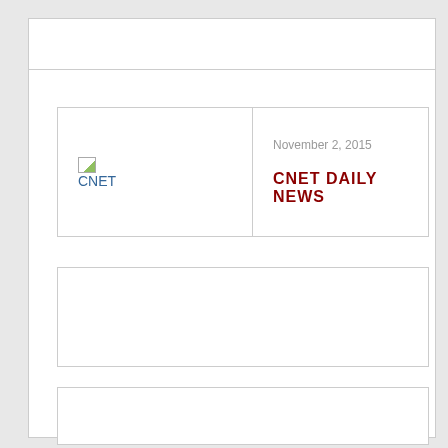[Figure (logo): CNET logo placeholder image with broken image icon and CNET text in blue]
November 2, 2015
CNET DAILY NEWS